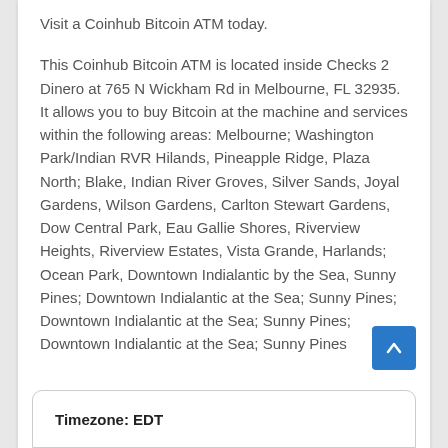Visit a Coinhub Bitcoin ATM today.
This Coinhub Bitcoin ATM is located inside Checks 2 Dinero at 765 N Wickham Rd in Melbourne, FL 32935. It allows you to buy Bitcoin at the machine and services within the following areas: Melbourne; Washington Park/Indian RVR Hilands, Pineapple Ridge, Plaza North; Blake, Indian River Groves, Silver Sands, Joyal Gardens, Wilson Gardens, Carlton Stewart Gardens, Dow Central Park, Eau Gallie Shores, Riverview Heights, Riverview Estates, Vista Grande, Harlands; Ocean Park, Downtown Indialantic by the Sea, Sunny Pines; Downtown Indialantic at the Sea; Sunny Pines; Downtown Indialantic at the Sea; Sunny Pines; Downtown Indialantic at the Sea; Sunny Pines
Timezone: EDT